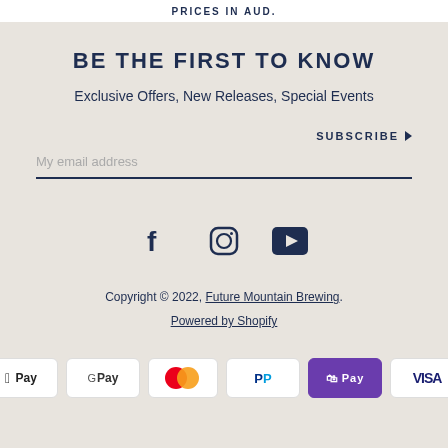PRICES IN AUD.
BE THE FIRST TO KNOW
Exclusive Offers, New Releases, Special Events
My email address
SUBSCRIBE ▶
[Figure (other): Social media icons: Facebook, Instagram, YouTube]
Copyright © 2022, Future Mountain Brewing.
Powered by Shopify
[Figure (other): Payment method badges: Apple Pay, Google Pay, Mastercard, PayPal, Shop Pay, Visa]